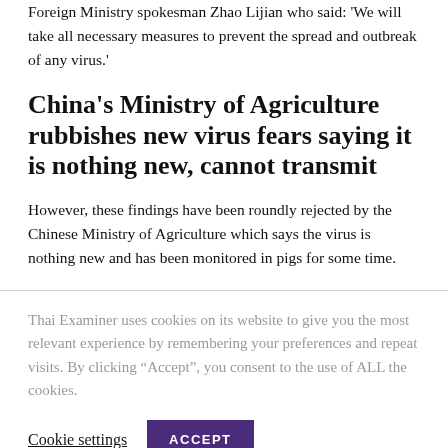Foreign Ministry spokesman Zhao Lijian who said: ‘We will take all necessary measures to prevent the spread and outbreak of any virus.’
China’s Ministry of Agriculture rubbishes new virus fears saying it is nothing new, cannot transmit
However, these findings have been roundly rejected by the Chinese Ministry of Agriculture which says the virus is nothing new and has been monitored in pigs for some time.
Thai Examiner uses cookies on its website to give you the most relevant experience by remembering your preferences and repeat visits. By clicking “Accept”, you consent to the use of ALL the cookies.
Cookie settings | ACCEPT